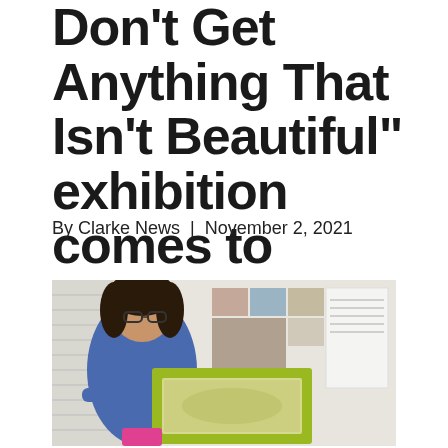Don't Get Anything That Isn't Beautiful" exhibition comes to Clarke
By Clarke News | November 2, 2021
[Figure (photo): A woman with dark hair and glasses wearing a blue shirt, holding a large yellow-green framed canvas. Behind her is a wall with various artworks and exhibition materials displayed.]